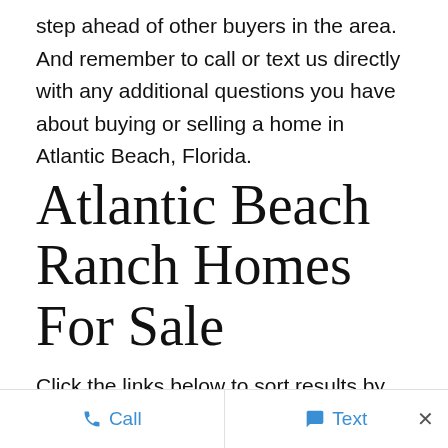step ahead of other buyers in the area. And remember to call or text us directly with any additional questions you have about buying or selling a home in Atlantic Beach, Florida.
Atlantic Beach Ranch Homes For Sale
Click the links below to sort results by price range.
All Listings
Call   Text